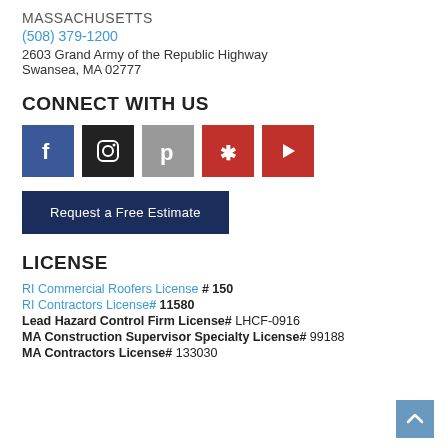MASSACHUSETTS
(508) 379-1200
2603 Grand Army of the Republic Highway
Swansea, MA 02777
CONNECT WITH US
[Figure (other): Social media icons: Facebook, Instagram, Pinterest, Yelp, YouTube]
Request a Free Estimate
LICENSE
RI Commercial Roofers License # 150
RI Contractors License# 11580
Lead Hazard Control Firm License# LHCF-0916
MA Construction Supervisor Specialty License# 99188
MA Contractors License# 133030